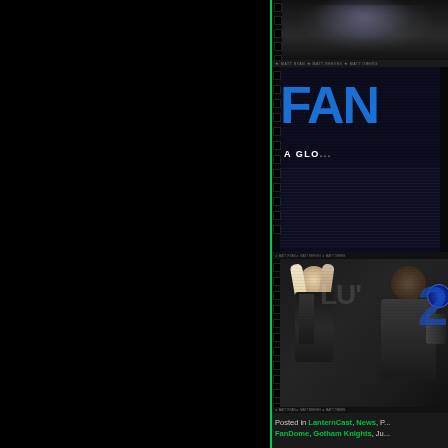[Figure (photo): Screenshot of a DC FanDome promotional page showing two stacked image panels: top panel shows a Batman silhouette with light glow effect, middle panel shows large blue 'FAN' text (part of FanDome logo) with 'A GLO...' subtitle text below, bottom panel shows two costumed characters (Harley Quinn and another superhero) in black and white/grayscale. Film strip perforations visible on left edges. The page is partially cropped on the right side. Left half of viewport is solid black with a vertical green accent line.]
Posted in LanternCast, News, P... FanDome, Gotham Knights, Ju...